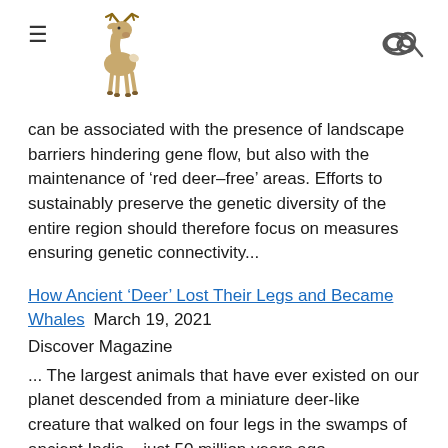[Hamburger menu] [Deer logo] [Search/cloud icon]
can be associated with the presence of landscape barriers hindering gene flow, but also with the maintenance of 'red deer–free' areas. Efforts to sustainably preserve the genetic diversity of the entire region should therefore focus on measures ensuring genetic connectivity...
How Ancient 'Deer' Lost Their Legs and Became Whales  March 19, 2021
Discover Magazine
... The largest animals that have ever existed on our planet descended from a miniature deer-like creature that walked on four legs in the swamps of ancient India... just 50 million years ago ...
An isolated white-tailed deer (Odocoileus virginianus)